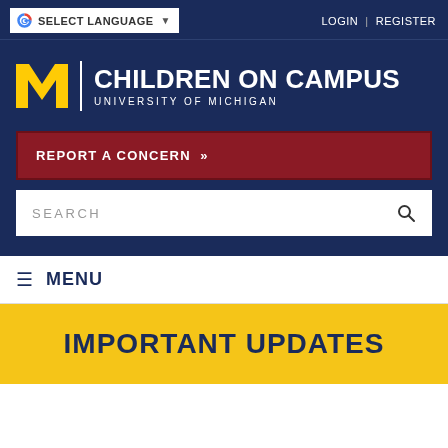SELECT LANGUAGE | LOGIN | REGISTER
[Figure (logo): University of Michigan Children on Campus logo — block M in yellow, vertical white divider, CHILDREN ON CAMPUS in white bold text, UNIVERSITY OF MICHIGAN below in smaller white caps]
REPORT A CONCERN »
SEARCH
≡  MENU
IMPORTANT UPDATES